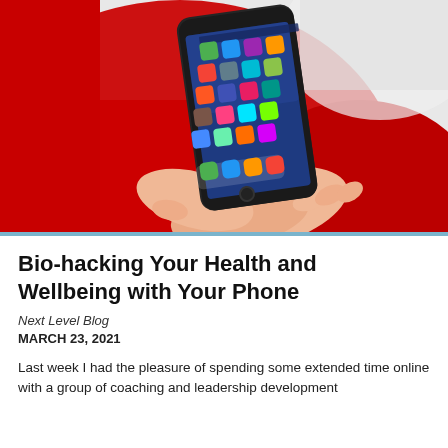[Figure (photo): Person's hands holding a smartphone displaying a home screen with colorful app icons, against a red background/jacket]
Bio-hacking Your Health and Wellbeing with Your Phone
Next Level Blog
MARCH 23, 2021
Last week I had the pleasure of spending some extended time online with a group of coaching and leadership development